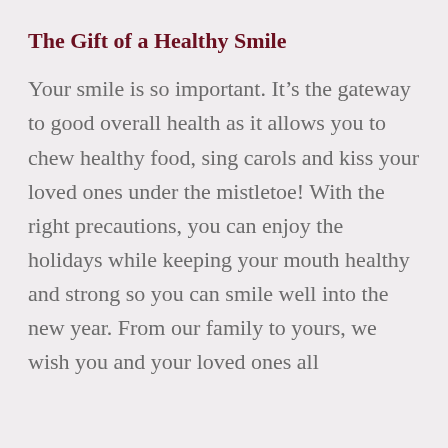The Gift of a Healthy Smile
Your smile is so important. It’s the gateway to good overall health as it allows you to chew healthy food, sing carols and kiss your loved ones under the mistletoe! With the right precautions, you can enjoy the holidays while keeping your mouth healthy and strong so you can smile well into the new year. From our family to yours, we wish you and your loved ones all